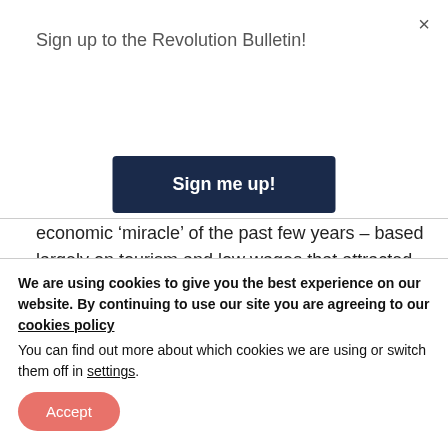Sign up to the Revolution Bulletin!
Sign me up!
economic ‘miracle’ of the past few years – based largely on tourism and low wages that attracted speculative investment in tech bubbles – has popped like a soap bubble as COVID-19 grounded flights and brought the economy grinding to a halt. Unemployment has grown again and 1 in 4 families have lost at least 25% of their
We are using cookies to give you the best experience on our website. By continuing to use our site you are agreeing to our cookies policy
You can find out more about which cookies we are using or switch them off in settings.
Accept